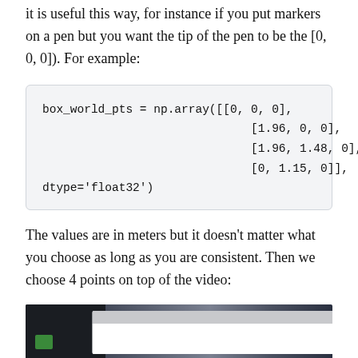it is useful this way, for instance if you put markers on a pen but you want the tip of the pen to be the [0, 0, 0]). For example:
The values are in meters but it doesn't matter what you choose as long as you are consistent. Then we choose 4 points on top of the video:
[Figure (screenshot): A screenshot of a video or application window showing a dark interface with a toolbar and content area.]